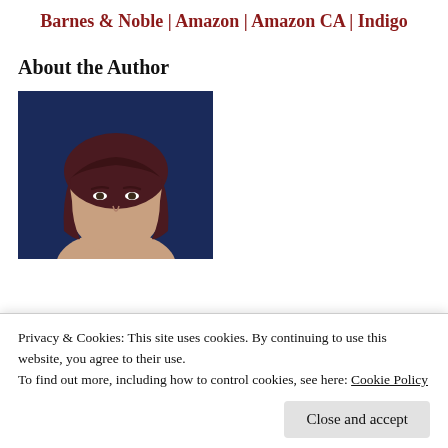Barnes & Noble | Amazon | Amazon CA | Indigo
About the Author
[Figure (photo): Author headshot: woman with dark reddish hair and bangs against a dark blue background]
Privacy & Cookies: This site uses cookies. By continuing to use this website, you agree to their use.
To find out more, including how to control cookies, see here: Cookie Policy
Close and accept